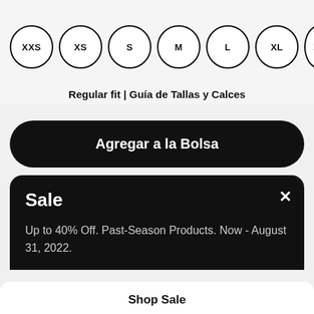[Figure (infographic): Size selector circles showing XXS, XS, S, M, L, XL, and a partially visible XXL option]
Regular fit | Guía de Tallas y Calces
Agregar a la Bolsa
Sale
Up to 40% Off. Past-Season Products. Now - August 31, 2022.
Shop Sale